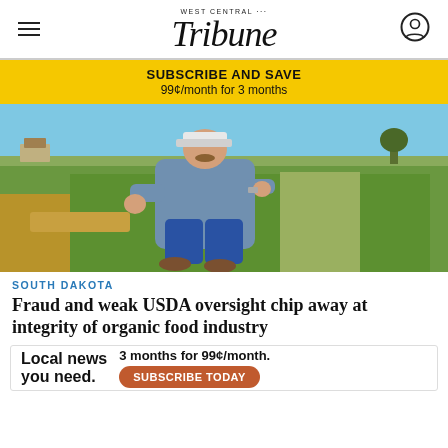West Central Tribune
SUBSCRIBE AND SAVE
99¢/month for 3 months
[Figure (photo): A man in a plaid shirt, jeans, and baseball cap crouches down in a green farm field, examining the grass/crops with his hand. Wide open farmland and blue sky in the background.]
SOUTH DAKOTA
Fraud and weak USDA oversight chip away at integrity of organic food industry
Cases of fraud and weak USDA oversight chip away at integrity and mistrust... largely on the honesty of producers, processors and packagers to
Local news you need.  3 months for 99¢/month.  SUBSCRIBE TODAY